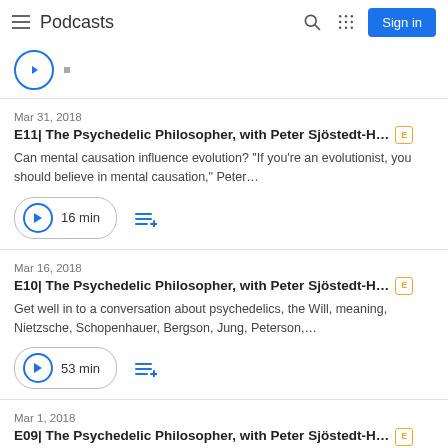Podcasts
Mar 31, 2018
E11| The Psychedelic Philosopher, with Peter Sjöstedt-H… [E]
Can mental causation influence evolution? "If you're an evolutionist, you should believe in mental causation," Peter…
16 min
Mar 16, 2018
E10| The Psychedelic Philosopher, with Peter Sjöstedt-H… [E]
Get well in to a conversation about psychedelics, the Will, meaning, Nietzsche, Schopenhauer, Bergson, Jung, Peterson,…
53 min
Mar 1, 2018
E09| The Psychedelic Philosopher, with Peter Sjöstedt-H… [E]